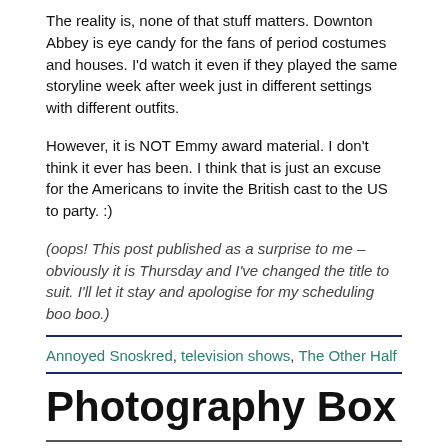The reality is, none of that stuff matters. Downton Abbey is eye candy for the fans of period costumes and houses. I'd watch it even if they played the same storyline week after week just in different settings with different outfits.
However, it is NOT Emmy award material. I don't think it ever has been. I think that is just an excuse for the Americans to invite the British cast to the US to party. :)
(oops! This post published as a surprise to me – obviously it is Thursday and I've changed the title to suit. I'll let it stay and apologise for my scheduling boo boo.)
Annoyed Snoskred, television shows, The Other Half
Photography Box
Posted on November 20, 2014 | by Snoskred   4 Comments
[Figure (photo): A strip of photos at the bottom of the page showing various photographic subjects in a horizontal band.]